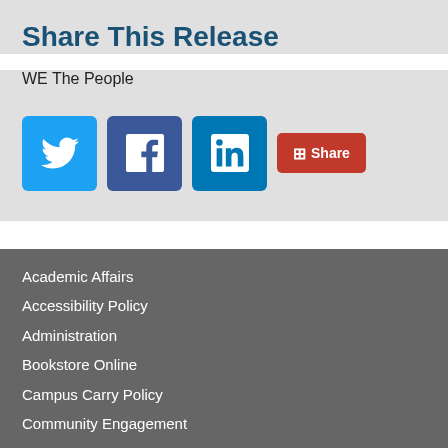Share This Release
WE The People
[Figure (infographic): Social media sharing buttons: Twitter (blue bird icon), Facebook (blue f icon), LinkedIn (blue in icon), and a red Share button with plus icon]
Academic Affairs
Accessibility Policy
Administration
Bookstore Online
Campus Carry Policy
Community Engagement
Compact with Texans
Employment Services & Operations
Fraud & Non-Compliance Hotline
Fraud Reporting